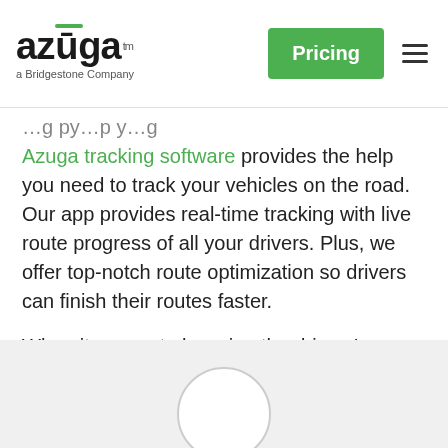azuga™ — a Bridgestone Company | Pricing
Azuga tracking software provides the help you need to track your vehicles on the road. Our app provides real-time tracking with live route progress of all your drivers. Plus, we offer top-notch route optimization so drivers can finish their routes faster.
When it comes to knowing the drivers' location, Azuga provides the better option of keeping tabs without having to disturb their driving.
[Figure (photo): Bottom portion of a webpage showing a light gray background with a partial circular outline shape centered, cut off at the bottom edge.]